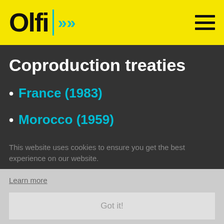Olfi | >> [navigation logo and hamburger menu]
Coproduction treaties
France (1983)
Morocco (1959)
This website uses cookies to ensure you get the best experience on our website.
Learn more
Got it!